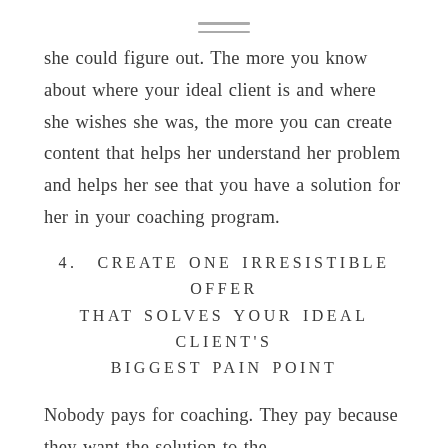[Figure (other): Hamburger menu icon — two horizontal lines]
she could figure out. The more you know about where your ideal client is and where she wishes she was, the more you can create content that helps her understand her problem and helps her see that you have a solution for her in your coaching program.
4. CREATE ONE IRRESISTIBLE OFFER THAT SOLVES YOUR IDEAL CLIENT'S BIGGEST PAIN POINT
Nobody pays for coaching. They pay because they want the solution to the